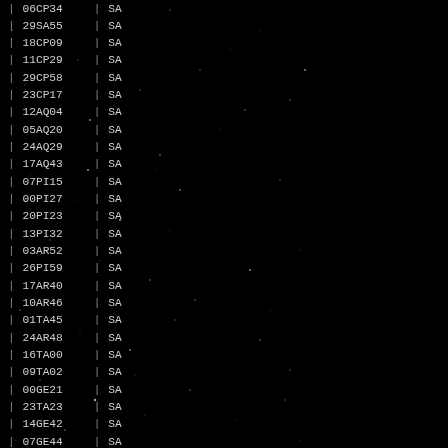| Date | Year | Time | AM/PM | Code | Type |
| --- | --- | --- | --- | --- | --- |
| APR 16, | 282 | 05:25 | AM | 06CP34 | SA |
| SEP 04, | 282 | 09:27 | AM | 29SA55 | SA |
| APR 28, | 283 | 02:20 | PM | 18CP09 | SA |
| SEP 16, | 283 | 06:32 | AM | 11CP29 | SA |
| MAY 10, | 284 | 06:18 | AM | 29CP58 | SA |
| SEP 27, | 284 | 07:04 | AM | 23CP17 | SA |
| MAY 23, | 285 | 06:09 | AM | 12AQ04 | SA |
| OCT 09, | 285 | 12:18 | PM | 05AQ20 | SA |
| JUN 05, | 286 | 02:21 | PM | 24AQ29 | SA |
| OCT 21, | 286 | 11:34 | PM | 17AQ43 | SA |
| JUN 19, | 287 | 07:01 | AM | 07PI15 | SA |
| NOV 03, | 287 | 05:43 | PM | 00PI27 | SA |
| JUL 02, | 288 | 07:48 | AM | 20PI23 | SA |
| NOV 15, | 288 | 07:33 | PM | 13PI32 | SA |
| JUL 16, | 289 | 03:48 | PM | 03AR52 | SA |
| NOV 29, | 289 | 05:24 | AM | 26PI59 | SA |
| JUL 31, | 290 | 05:22 | AM | 17AR40 | SA |
| DEC 12, | 290 | 11:14 | PM | 10AR46 | SA |
| AUG 14, | 291 | 10:22 | PM | 01TA45 | SA |
| DEC 27, | 291 | 00:33 | AM | 24AR48 | SA |
| AUG 28, | 292 | 04:49 | PM | 16TA00 | SA |
| JAN 09, | 293 | 07:46 | AM | 09TA02 | SA |
| SEP 12, | 293 | 10:40 | AM | 00GE21 | SA |
| JAN 23, | 294 | 07:25 | PM | 23TA23 | SA |
| SEP 27, | 294 | 01:28 | AM | 14GE42 | SA |
| FEB 07, | 295 | 09:53 | AM | 07GE44 | SA |
| OCT 11, | 295 | 10:55 | AM | 28GE57 | SA |
| FEB 22, | 296 | 01:13 | AM | 22GE00 | SA |
| OCT 24, | 296 | 01:21 | PM | 13CA01 | SA |
| MAR 07, | 297 | 03:05 | PM | 06CA05 | SA |